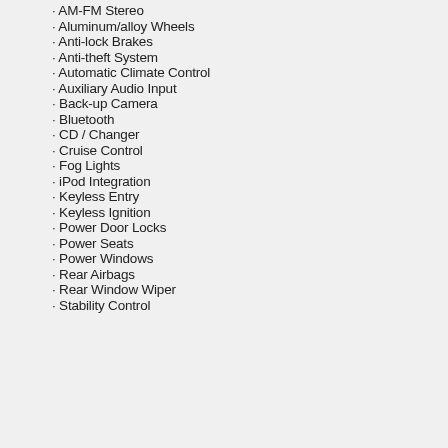· AM-FM Stereo
· Aluminum/alloy Wheels
· Anti-lock Brakes
· Anti-theft System
· Automatic Climate Control
· Auxiliary Audio Input
· Back-up Camera
· Bluetooth
· CD / Changer
· Cruise Control
· Fog Lights
· iPod Integration
· Keyless Entry
· Keyless Ignition
· Power Door Locks
· Power Seats
· Power Windows
· Rear Airbags
· Rear Window Wiper
· Stability Control